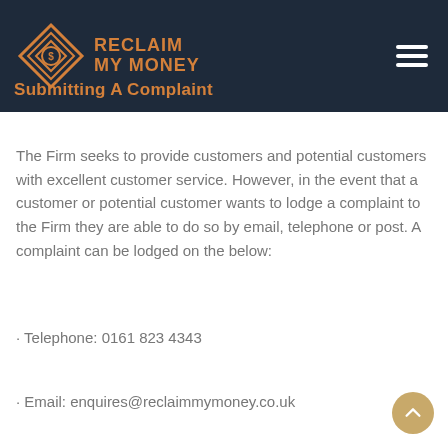RECLAIM MY MONEY
Submitting A Complaint
The Firm seeks to provide customers and potential customers with excellent customer service. However, in the event that a customer or potential customer wants to lodge a complaint to the Firm they are able to do so by email, telephone or post. A complaint can be lodged on the below:
· Telephone: 0161 823 4343
· Email: enquires@reclaimmymoney.co.uk